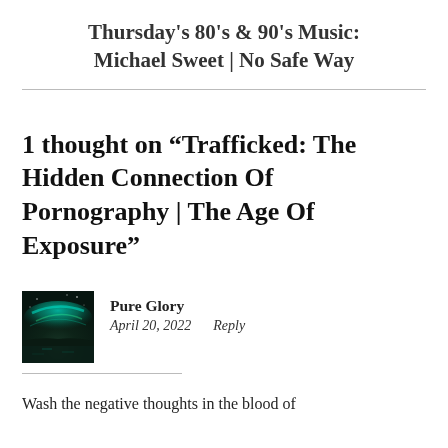Thursday's 80's & 90's Music: Michael Sweet | No Safe Way
1 thought on “Trafficked: The Hidden Connection Of Pornography | The Age Of Exposure”
Pure Glory
April 20, 2022    Reply
Wash the negative thoughts in the blood of